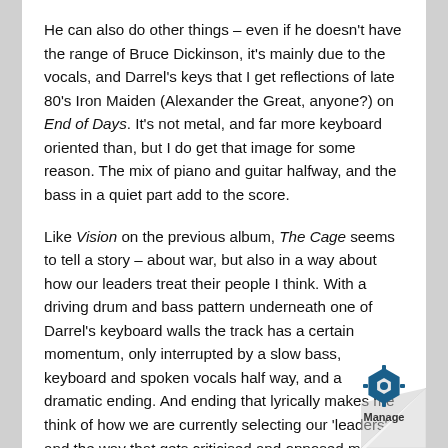He can also do other things – even if he doesn't have the range of Bruce Dickinson, it's mainly due to the vocals, and Darrel's keys that I get reflections of late 80's Iron Maiden (Alexander the Great, anyone?) on End of Days. It's not metal, and far more keyboard oriented than, but I do get that image for some reason. The mix of piano and guitar halfway, and the bass in a quiet part add to the score.
Like Vision on the previous album, The Cage seems to tell a story – about war, but also in a way about how our leaders treat their people I think. With a driving drum and bass pattern underneath one of Darrel's keyboard walls the track has a certain momentum, only interrupted by a slow bass, keyboard and spoken vocals half way, and a dramatic ending. And ending that lyrically makes me think of how we are currently selecting our 'leaders', and the way that gets criticised and opposed more and more. Hopeful, yet dramatic:
The World has changed forever, nothing will ever b
[Figure (other): Page curl effect with Manage logo (blue hexagonal gear icon) and 'Manage' text label in bottom-right corner]